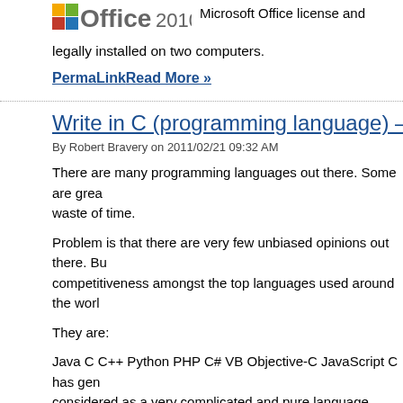[Figure (logo): Microsoft Office 2010 logo]
Microsoft Office license and legally installed on two computers.
PermaLinkRead More »
Write in C (programming language) – Let it be Co
By Robert Bravery on 2011/02/21 09:32 AM
There are many programming languages out there. Some are great waste of time.
Problem is that there are very few unbiased opinions out there. But competitiveness amongst the top languages used around the world.
They are:
Java C C++ Python PHP C# VB Objective-C JavaScript C has generally considered as a very complicated and pure language. Most other la